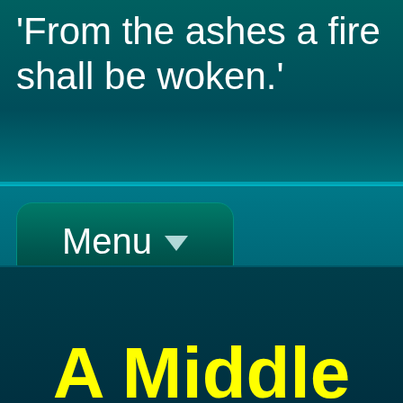'From the ashes a fire shall be woken.'
[Figure (screenshot): Menu dropdown button with downward arrow triangle, teal rounded rectangle style]
[Figure (screenshot): Desktop Style button, teal rounded rectangle style]
A Middle